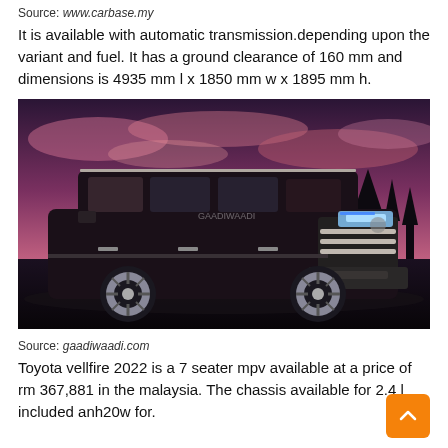Source: www.carbase.my
It is available with automatic transmission.depending upon the variant and fuel. It has a ground clearance of 160 mm and dimensions is 4935 mm l x 1850 mm w x 1895 mm h.
[Figure (photo): Black Toyota Vellfire MPV photographed against a dramatic purple-pink cloudy sky with trees in the background, three-quarter front view]
Source: gaadiwaadi.com
Toyota vellfire 2022 is a 7 seater mpv available at a price of rm 367,881 in the malaysia. The chassis available for 2.4 l included anh20w for.